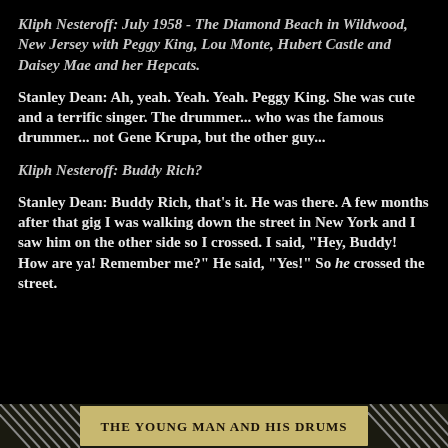Kliph Nesteroff: July 1958 - The Diamond Beach in Wildwood, New Jersey with Peggy King, Lou Monte, Hubert Castle and Daisey Mae and her Hepcats.
Stanley Dean: Ah, yeah. Yeah. Yeah. Peggy King. She was cute and a terrific singer. The drummer... who was the famous drummer... not Gene Krupa, but the other guy...
Kliph Nesteroff: Buddy Rich?
Stanley Dean: Buddy Rich, that's it. He was there. A few months after that gig I was walking down the street in New York and I saw him on the other side so I crossed. I said, "Hey, Buddy! How are ya! Remember me?" He said, "Yes!" So he crossed the street.
[Figure (illustration): Bottom banner with diagonal stripe pattern on left and right sides, and text 'THE YOUNG MAN AND HIS DRUMS' in bold serif font centered on a lighter background.]